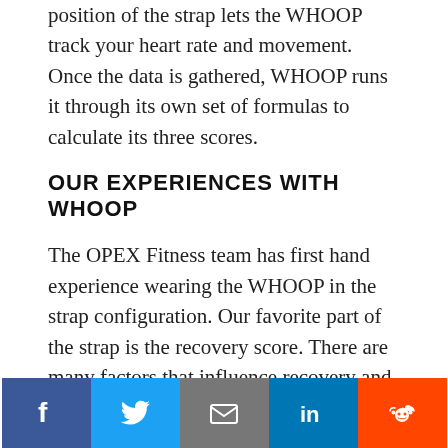position of the strap lets the WHOOP track your heart rate and movement. Once the data is gathered, WHOOP runs it through its own set of formulas to calculate its three scores.
OUR EXPERIENCES WITH WHOOP
The OPEX Fitness team has first hand experience wearing the WHOOP in the strap configuration. Our favorite part of the strap is the recovery score. There are many factors that influence recovery and this score helps create awareness around how these factors affect our training.
The strap itself is a sleek design and can easily be worn during workouts. It is worth noting that we
[Figure (infographic): Social share bar with five buttons: Facebook (blue), Twitter (light blue), Email (gray), LinkedIn (blue), Reddit (orange)]